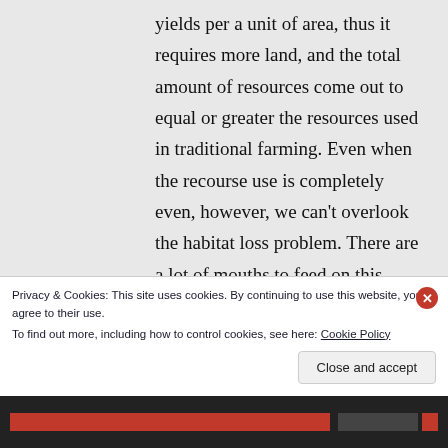yields per a unit of area, thus it requires more land, and the total amount of resources come out to equal or greater the resources used in traditional farming. Even when the recourse use is completely even, however, we can't overlook the habitat loss problem. There are a lot of mouths to feed on this
Privacy & Cookies: This site uses cookies. By continuing to use this website, you agree to their use. To find out more, including how to control cookies, see here: Cookie Policy
Close and accept